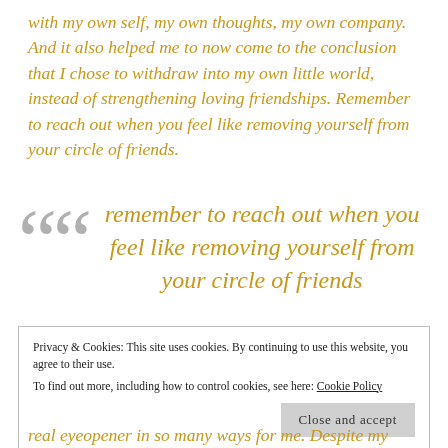with my own self, my own thoughts, my own company. And it also helped me to now come to the conclusion that I chose to withdraw into my own little world, instead of strengthening loving friendships. Remember to reach out when you feel like removing yourself from your circle of friends.
remember to reach out when you feel like removing yourself from your circle of friends
Privacy & Cookies: This site uses cookies. By continuing to use this website, you agree to their use.
To find out more, including how to control cookies, see here: Cookie Policy
real eyeopener in so many ways for me. Despite my